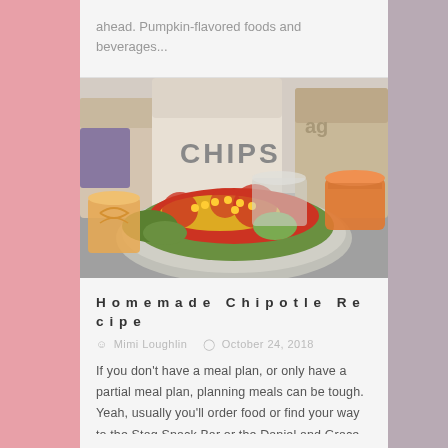ahead. Pumpkin-flavored foods and beverages...
[Figure (photo): A bowl of Chipotle salad with red salsa, corn, lettuce, and other toppings on a foil tray, with a CHIPS bag in the background.]
Homemade Chipotle Recipe
Mimi Loughlin  October 24, 2018
If you don't have a meal plan, or only have a partial meal plan, planning meals can be tough. Yeah, usually you'll order food or find your way to the Stag Snack Bar or the Daniel and Grace Tully Dining...